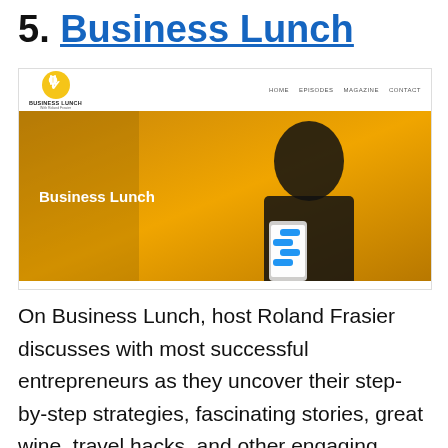5. Business Lunch
[Figure (screenshot): Screenshot of the Business Lunch podcast website showing a logo with a fork icon, navigation links (HOME, EPISODES, MAGAZINE, CONTACT), and a hero banner with an orange/golden background showing a man in a black shirt holding a smartphone with chat messages, with 'Business Lunch' text overlay.]
On Business Lunch, host Roland Frasier discusses with most successful entrepreneurs as they uncover their step-by-step strategies, fascinating stories, great wine, travel hacks, and other engaging stories